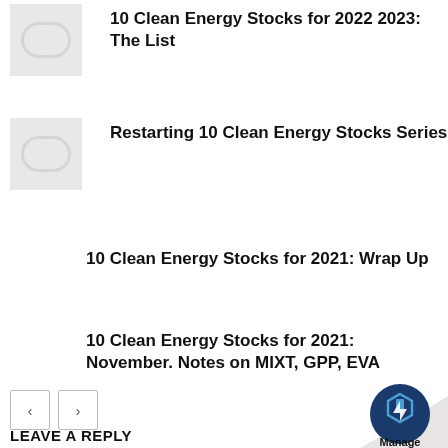10 Clean Energy Stocks for 2022 2023: The List
[Figure (illustration): Thumbnail placeholder with round logo shape]
Restarting 10 Clean Energy Stocks Series
[Figure (illustration): Thumbnail placeholder with round logo shape]
10 Clean Energy Stocks for 2021: Wrap Up
10 Clean Energy Stocks for 2021: November. Notes on MIXT, GPP, EVA
[Figure (other): Navigation previous and next buttons]
[Figure (logo): Page curl with Manage logo at bottom right]
LEAVE A REPLY